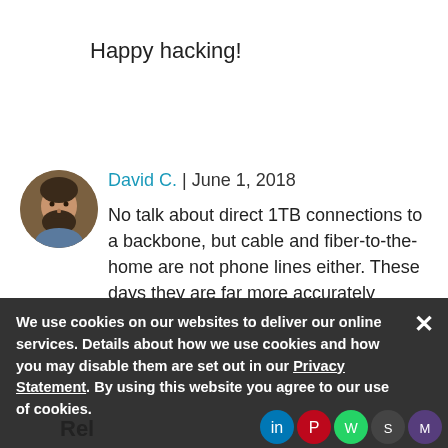Happy hacking!
David C. | June 1, 2018
No talk about direct 1TB connections to a backbone, but cable and fiber-to-the-home are not phone lines either. These days they are far more accurately described as dedicated data lines over which you can subscribe to phone, TV and Internet services.
We use cookies on our websites to deliver our online services. Details about how we use cookies and how you may disable them are set out in our Privacy Statement. By using this website you agree to our use of cookies.